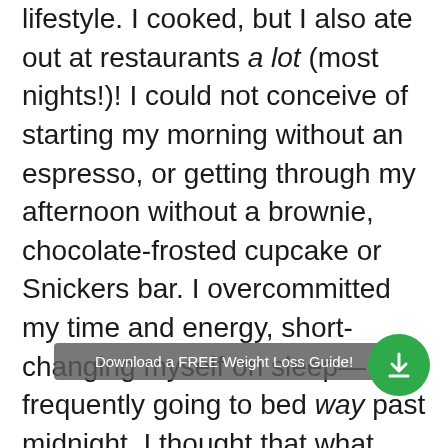lifestyle. I cooked, but I also ate out at restaurants a lot (most nights!)! I could not conceive of starting my morning without an espresso, or getting through my afternoon without a brownie, chocolate-frosted cupcake or Snickers bar. I overcommitted my time and energy, short-changing myself on sleep—frequently going to bed way past midnight. I thought that what mattered most when it came to being, getting or staying lean and healthy was how much I exercised (at the time, 2 to 3 hours, 5 days a week). Weight management, hormone balance and health were all a matter of willpower (especially, with regard to exercise). Or so I
Download a FREE Weight Loss Guide!